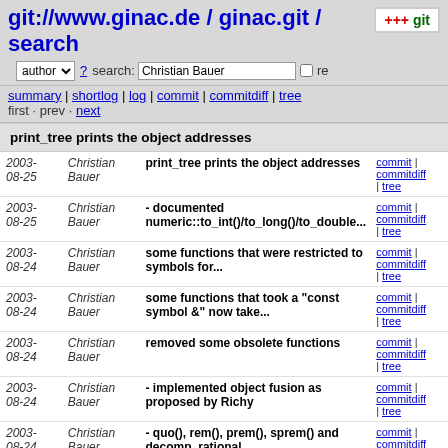git://www.ginac.de / ginac.git / search
author ? search: Christian Bauer re
summary | shortlog | log | commit | commitdiff | tree
first · prev · next
print_tree prints the object addresses
| date | author | message | links |
| --- | --- | --- | --- |
| 2003-08-25 | Christian Bauer | print_tree prints the object addresses | commit | commitdiff | tree |
| 2003-08-25 | Christian Bauer | - documented numeric::to_int()/to_long()/to_double... | commit | commitdiff | tree |
| 2003-08-24 | Christian Bauer | some functions that were restricted to symbols for... | commit | commitdiff | tree |
| 2003-08-24 | Christian Bauer | some functions that took a "const symbol &" now take... | commit | commitdiff | tree |
| 2003-08-24 | Christian Bauer | removed some obsolete functions | commit | commitdiff | tree |
| 2003-08-24 | Christian Bauer | - implemented object fusion as proposed by Richy | commit | commitdiff | tree |
| 2003-08-24 | Christian Bauer | - quo(), rem(), prem(), sprem() and decomp_rational... | commit | commitdiff | tree |
| 2003-08-24 | Christian Bauer | added flag to disable object fusion | commit | commitdiff | tree |
| 2003-08-24 | Christian Bauer | - charpoly(): lambda is now a "const ex | commit | commitdiff |